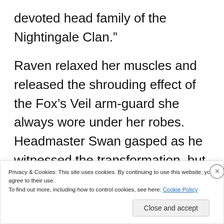devoted head family of the Nightingale Clan.”
Raven relaxed her muscles and released the shrouding effect of the Fox’s Veil arm-guard she always wore under her robes. Headmaster Swan gasped as he witnessed the transformation, but Raven ignored his outburst and calmly started telling her story.
Privacy & Cookies: This site uses cookies. By continuing to use this website, you agree to their use.
To find out more, including how to control cookies, see here: Cookie Policy
Close and accept